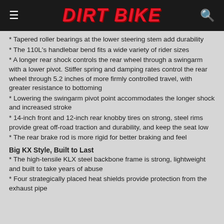DIRT BIKE
* Tapered roller bearings at the lower steering stem add durability
* The 110L's handlebar bend fits a wide variety of rider sizes
* A longer rear shock controls the rear wheel through a swingarm with a lower pivot. Stiffer spring and damping rates control the rear wheel through 5.2 inches of more firmly controlled travel, with greater resistance to bottoming
* Lowering the swingarm pivot point accommodates the longer shock and increased stroke
* 14-inch front and 12-inch rear knobby tires on strong, steel rims provide great off-road traction and durability, and keep the seat low
* The rear brake rod is more rigid for better braking and feel
Big KX Style, Built to Last
* The high-tensile KLX steel backbone frame is strong, lightweight and built to take years of abuse
* Four strategically placed heat shields provide protection from the exhaust pipe